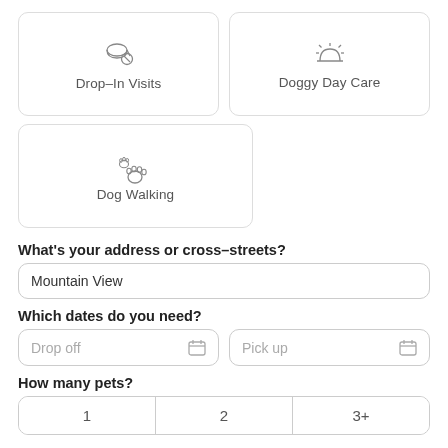[Figure (infographic): Service selection cards: Drop-In Visits (icon of a house with paw), Doggy Day Care (icon of sun), Dog Walking (icon of paw prints)]
What's your address or cross-streets?
Mountain View
Which dates do you need?
Drop off
Pick up
How many pets?
1
2
3+